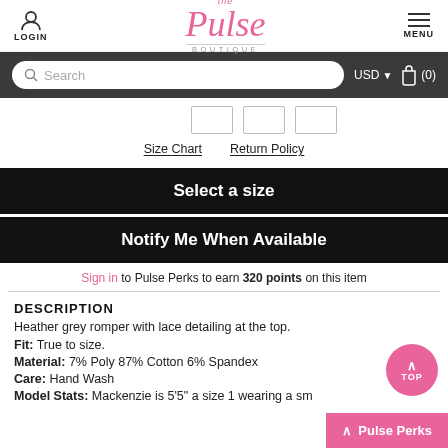[Figure (logo): The Pulse Boutique logo in pink cursive with navigation icons for LOGIN and MENU]
[Figure (screenshot): Search bar with USD currency selector and cart icon (0) on dark background]
[Figure (other): Three size selection boxes]
Size Chart   Return Policy
Select a size
Notify Me When Available
Sign in to Pulse Perks to earn 320 points on this item
DESCRIPTION
Heather grey romper with lace detailing at the top.
Fit: True to size.
Material: 7% Poly 87% Cotton 6% Spandex
Care: Hand Wash
Model Stats: Mackenzie is 5'5" a size 1 wearing a sm